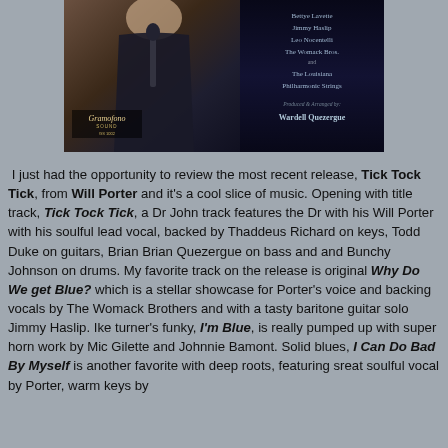[Figure (photo): Album cover for 'Tick Tock Tick' by Will Porter. Left side shows a man in a dark suit holding a microphone, with Gramofono Sound GS 1002 label. Right side on dark background lists artists: Bettye Lavette, Jimmy Haslip, Leo Nocentelli, The Womack Bros., and The Louisiana Philharmonic Strings. Produced & Arranged by Wardell Quezergue.]
I just had the opportunity to review the most recent release, Tick Tock Tick, from Will Porter and it's a cool slice of music. Opening with title track, Tick Tock Tick, a Dr John track features the Dr with his Will Porter with his soulful lead vocal, backed by Thaddeus Richard on keys, Todd Duke on guitars, Brian Brian Quezergue on bass and and Bunchy Johnson on drums. My favorite track on the release is original Why Do We get Blue? which is a stellar showcase for Porter's voice and backing vocals by The Womack Brothers and with a tasty baritone guitar solo Jimmy Haslip. Ike turner's funky, I'm Blue, is really pumped up with super horn work by Mic Gilette and Johnnie Bamont. Solid blues, I Can Do Bad By Myself is another favorite with deep roots, featuring sreat soulful vocal by Porter, warm keys by